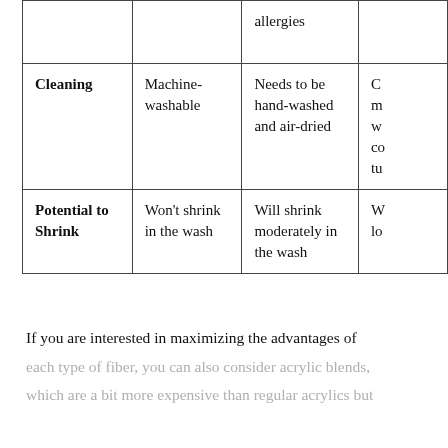|  |  | allergies |  |
| Cleaning | Machine-washable | Needs to be hand-washed and air-dried | C m w co tu |
| Potential to Shrink | Won't shrink in the wash | Will shrink moderately in the wash | W lo |
If you are interested in maximizing the advantages of each type of fiber, you can also consider acrylic blends, which are a bit more expensive than regular acrylics but